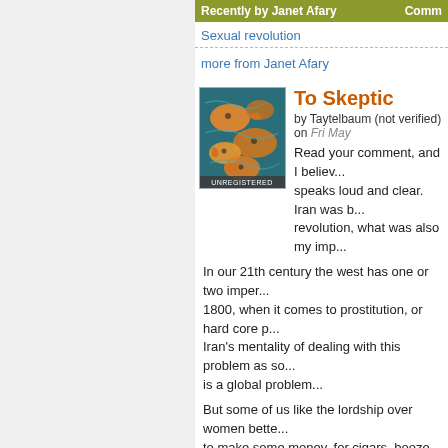Recently by Janet Afary | Comm...
Sexual revolution
more from Janet Afary
To Skeptic
by Taytelbaum (not verified) on Fri May...
Read your comment, and I believe... speaks loud and clear. Iran was b... revolution, what was also my imp...
In our 21th century the west has one or two imper... 1800, when it comes to prostitution, or hard core p... Iran's mentality of dealing with this problem as so... is a global problem...
But some of us like the lordship over women bette... to make some money, for cigars, booze and expe... christmas with the whole family and friends/ neigh...
There is always a ch...
by Skeptic (not verified) on Fri May 22,...
Listen Someone.
There is always a choice. I have a... socks in gas stations in Iran to m...